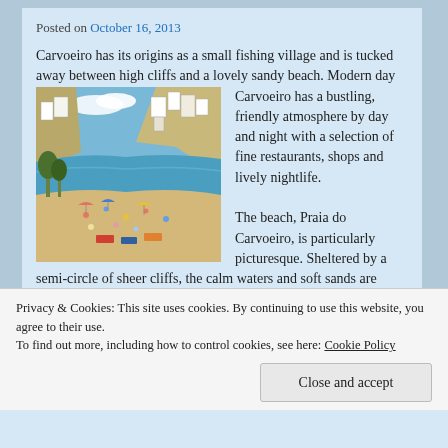Posted on October 16, 2013
Carvoeiro has its origins as a small fishing village and is tucked away between high cliffs and a lovely sandy beach. Modern day Carvoeiro has a bustling, friendly atmosphere by day and night with a selection of fine restaurants, shops and lively nightlife.

The beach, Praia do Carvoeiro, is particularly picturesque. Sheltered by a semi-circle of sheer cliffs, the calm waters and soft sands are particularly popular with families. The central square of the town, located just behind the beach, has an array of cafes and terrace bars that offer beautiful views of the bay.Carcoeiro is well-supplied with entertainments. From the water-
[Figure (photo): Aerial/elevated view of Carvoeiro beach town with white buildings on cliffs, sandy beach with people and umbrellas, turquoise water]
Privacy & Cookies: This site uses cookies. By continuing to use this website, you agree to their use.
To find out more, including how to control cookies, see here: Cookie Policy
Close and accept